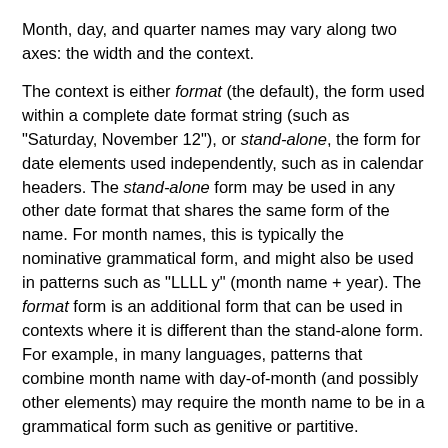Month, day, and quarter names may vary along two axes: the width and the context.
The context is either format (the default), the form used within a complete date format string (such as "Saturday, November 12"), or stand-alone, the form for date elements used independently, such as in calendar headers. The stand-alone form may be used in any other date format that shares the same form of the name. For month names, this is typically the nominative grammatical form, and might also be used in patterns such as "LLLL y" (month name + year). The format form is an additional form that can be used in contexts where it is different than the stand-alone form. For example, in many languages, patterns that combine month name with day-of-month (and possibly other elements) may require the month name to be in a grammatical form such as genitive or partitive.
In past versions of CLDR, the distinction between format and stand-alone forms was used to control capitalization (with stand-alone forms being title-cased).